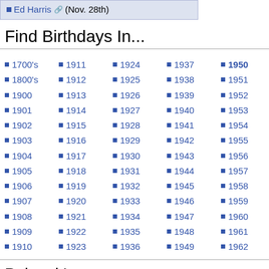Ed Harris (Nov. 28th)
Find Birthdays In...
1700's
1800's
1900
1901
1902
1903
1904
1905
1906
1907
1908
1909
1910
1911
1912
1913
1914
1915
1916
1917
1918
1919
1920
1921
1922
1923
1924
1925
1926
1927
1928
1929
1930
1931
1932
1933
1934
1935
1936
1937
1938
1939
1940
1941
1942
1943
1944
1945
1946
1947
1948
1949
1950
1951
1952
1953
1954
1955
1956
1957
1958
1959
1960
1961
1962
Related Items